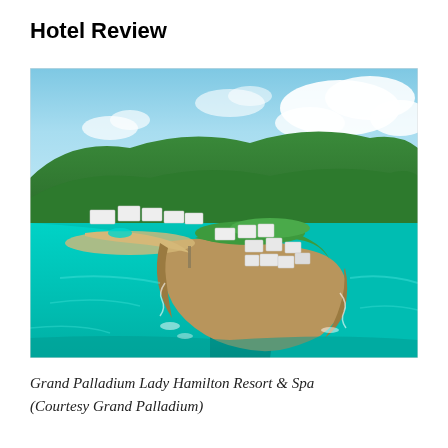Hotel Review
[Figure (photo): Aerial view of Grand Palladium Lady Hamilton Resort & Spa showing resort buildings on a rocky peninsula surrounded by turquoise Caribbean waters, with lush green hills and a sandy beach in the background under a blue sky with clouds.]
Grand Palladium Lady Hamilton Resort & Spa (Courtesy Grand Palladium)